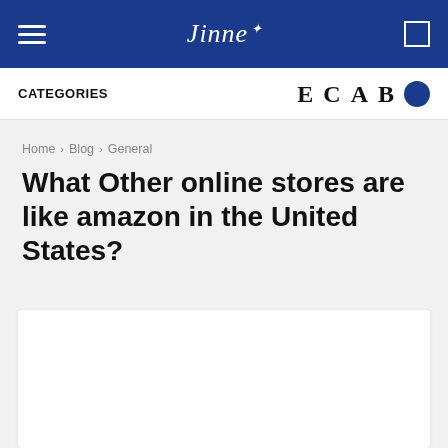Jinne [logo with bird icon]
CATEGORIES   E  C  A  B
Home › Blog › General
What Other online stores are like amazon in the United States?
[Figure (photo): White rectangular image placeholder box]